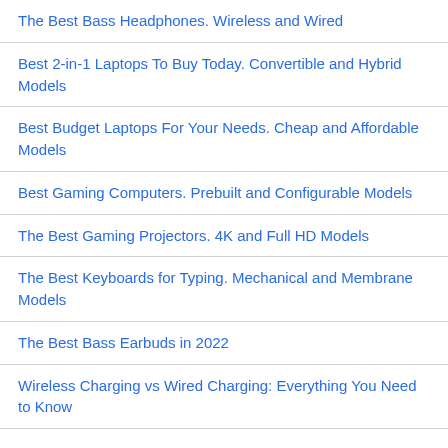The Best Bass Headphones. Wireless and Wired
Best 2-in-1 Laptops To Buy Today. Convertible and Hybrid Models
Best Budget Laptops For Your Needs. Cheap and Affordable Models
Best Gaming Computers. Prebuilt and Configurable Models
The Best Gaming Projectors. 4K and Full HD Models
The Best Keyboards for Typing. Mechanical and Membrane Models
The Best Bass Earbuds in 2022
Wireless Charging vs Wired Charging: Everything You Need to Know